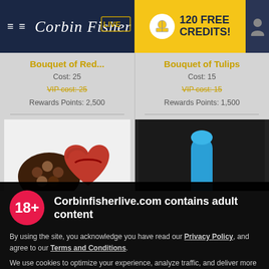Corbin Fisher LIVE | 120 FREE CREDITS!
Bouquet of Red...
Cost: 25
VIP cost: 25
Rewards Points: 2,500
Bouquet of Tulips
Cost: 15
VIP cost: 15
Rewards Points: 1,500
[Figure (photo): Heart-shaped red chocolate box with assorted chocolates, and a blue product on the right side]
18+ Corbinfisherlive.com contains adult content
By using the site, you acknowledge you have read our Privacy Policy, and agree to our Terms and Conditions.
We use cookies to optimize your experience, analyze traffic, and deliver more personalized service. To learn more, please see our Privacy Policy.
I AGREE